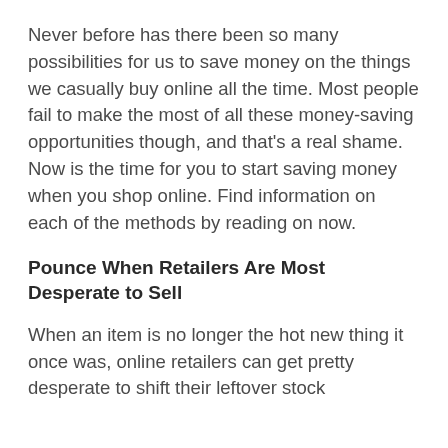Never before has there been so many possibilities for us to save money on the things we casually buy online all the time. Most people fail to make the most of all these money-saving opportunities though, and that's a real shame. Now is the time for you to start saving money when you shop online. Find information on each of the methods by reading on now.
Pounce When Retailers Are Most Desperate to Sell
When an item is no longer the hot new thing it once was, online retailers can get pretty desperate to shift their leftover stock